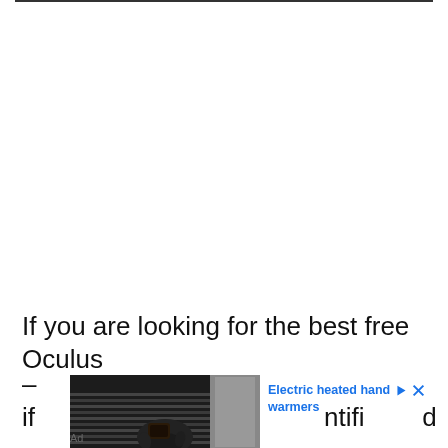If you are looking for the best free Oculus
–if
[Figure (photo): Advertisement image showing a person holding a small dark device, photographed in low light near what appears to be a garage door or shutter]
Electric heated hand warmers
Ad